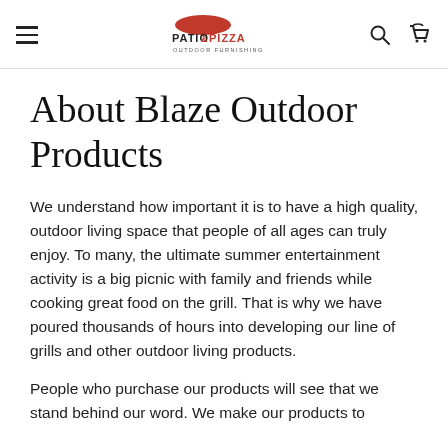Patio & Pizza Outdoor Furnishings
About Blaze Outdoor Products
We understand how important it is to have a high quality, outdoor living space that people of all ages can truly enjoy. To many, the ultimate summer entertainment activity is a big picnic with family and friends while cooking great food on the grill. That is why we have poured thousands of hours into developing our line of grills and other outdoor living products.
People who purchase our products will see that we stand behind our word. We make our products to